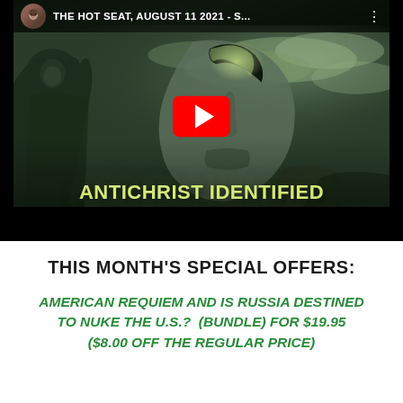[Figure (screenshot): YouTube video thumbnail screenshot showing a hooded figure and a stone mask against a dark green foggy background with the text 'ANTICHRIST IDENTIFIED' and a red YouTube play button. Top bar shows title 'THE HOT SEAT, AUGUST 11 2021 - S...' with avatar and three-dot menu.]
THIS MONTH'S SPECIAL OFFERS:
AMERICAN REQUIEM AND IS RUSSIA DESTINED TO NUKE THE U.S.?  (BUNDLE) FOR $19.95 ($8.00 OFF THE REGULAR PRICE)